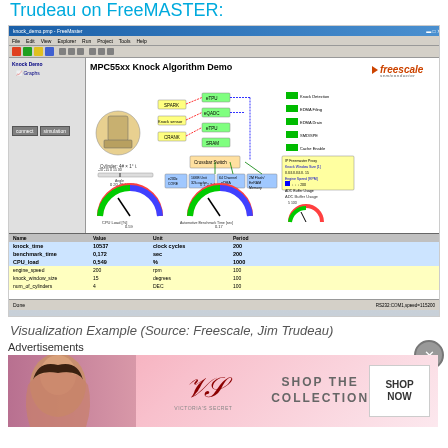Trudeau on FreeMASTER:
[Figure (screenshot): FreeMASTER software screenshot showing MPC55xx Knock Algorithm Demo with block diagram, gauges, and data table. Shows knock_time=10537 clock cycles, benchmark_time=0.172 sec, CPU_load=0.549%]
Visualization Example (Source: Freescale, Jim Trudeau)
Advertisements
[Figure (photo): Victoria's Secret advertisement banner - SHOP THE COLLECTION - SHOP NOW]